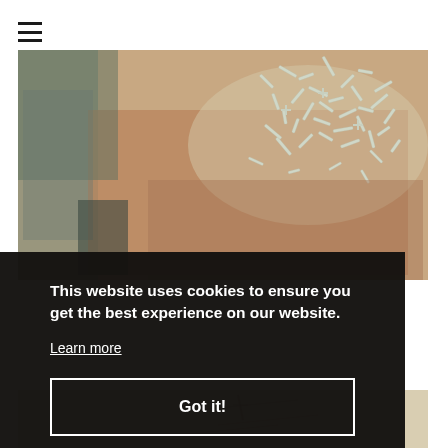[Figure (photo): Close-up photograph of a cluster of metal nails or pins scattered on a brownish textured surface, resembling an old manuscript or fabric background. The nails are silver/white and appear randomly arranged. Partial view of a second similar photo visible at bottom.]
This website uses cookies to ensure you get the best experience on our website.
Learn more
Got it!